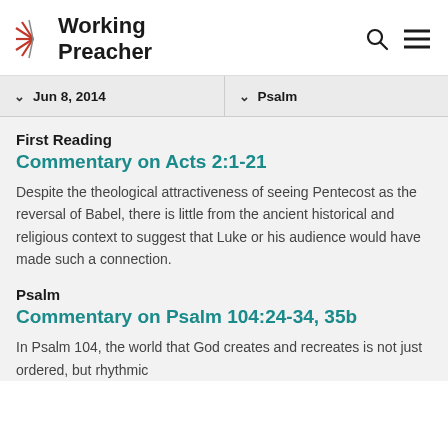Working Preacher
Jun 8, 2014
Psalm
First Reading
Commentary on Acts 2:1-21
Despite the theological attractiveness of seeing Pentecost as the reversal of Babel, there is little from the ancient historical and religious context to suggest that Luke or his audience would have made such a connection.
Psalm
Commentary on Psalm 104:24-34, 35b
In Psalm 104, the world that God creates and recreates is not just ordered, but rhythmic